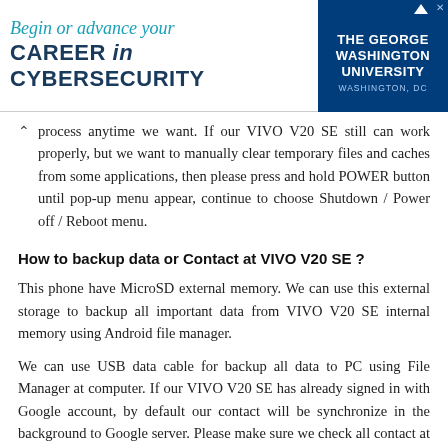[Figure (other): Advertisement banner for The George Washington University cybersecurity program. Text reads 'Begin or advance your CAREER in CYBERSECURITY' with university logo on the right.]
process anytime we want. If our VIVO V20 SE still can work properly, but we want to manually clear temporary files and caches from some applications, then please press and hold POWER button until pop-up menu appear, continue to choose Shutdown / Power off / Reboot menu.
How to backup data or Contact at VIVO V20 SE ?
This phone have MicroSD external memory. We can use this external storage to backup all important data from VIVO V20 SE internal memory using Android file manager.
We can use USB data cable for backup all data to PC using File Manager at computer. If our VIVO V20 SE has already signed in with Google account, by default our contact will be synchronize in the background to Google server. Please make sure we check all contact at Google contact server using Internet browse to make